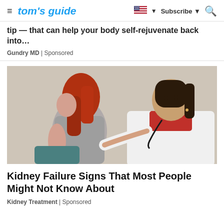tom's guide — Subscribe
tip — that can help your body self-rejuvenate back into…
Gundry MD | Sponsored
[Figure (photo): A female doctor in a white coat examining a red-haired female patient's back, both seated.]
Kidney Failure Signs That Most People Might Not Know About
Kidney Treatment | Sponsored